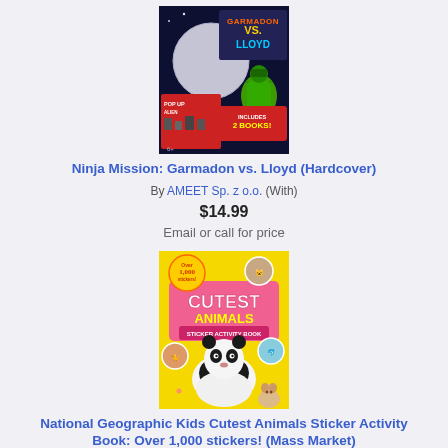[Figure (illustration): Book cover: Ninja Mission Garmadon vs. Lloyd Hardcover - dark blue cover with LEGO ninja characters]
Ninja Mission: Garmadon vs. Lloyd (Hardcover)
By AMEET Sp. z o.o. (With)
$14.99
Email or call for price
[Figure (illustration): Book cover: National Geographic Kids Cutest Animals Sticker Activity Book - yellow cover with panda and animal photos]
National Geographic Kids Cutest Animals Sticker Activity Book: Over 1,000 stickers! (Mass Market)
By National Kids